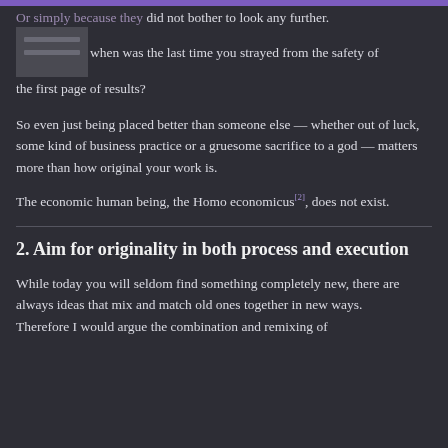Or simply because they did not bother to look any further. I mean when was the last time you strayed from the safety of the first page of results?
So even just being placed better than someone else — whether out of luck, some kind of business practice or a gruesome sacrifice to a god — matters more than how original your work is.
The economic human being, the Homo economicus[2], does not exist.
2. Aim for originality in both process and execution
While today you will seldom find something completely new, there are always ideas that mix and match old ones together in new ways.
Therefore I would argue the combination and remixing of